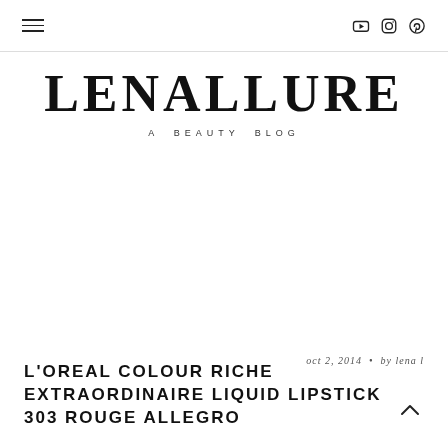LENALLURE — A BEAUTY BLOG (navigation bar with hamburger menu and social icons)
LENALLURE
A BEAUTY BLOG
oct 2, 2014  •  by lena l
L'OREAL COLOUR RICHE EXTRAORDINAIRE LIQUID LIPSTICK 303 ROUGE ALLEGRO